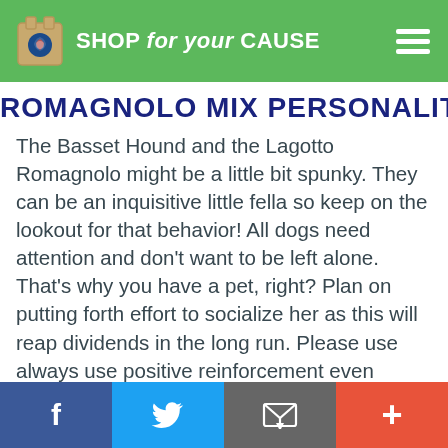SHOP for your CAUSE
ROMAGNOLO MIX PERSONALITY
The Basset Hound and the Lagotto Romagnolo might be a little bit spunky. They can be an inquisitive little fella so keep on the lookout for that behavior! All dogs need attention and don't want to be left alone. That's why you have a pet, right? Plan on putting forth effort to socialize her as this will reap dividends in the long run. Please use always use positive reinforcement even though they can have a mind of their own. Enjoy being with your new mixed breed and love the relationship you will have with them.
f  [twitter]  [email]  +